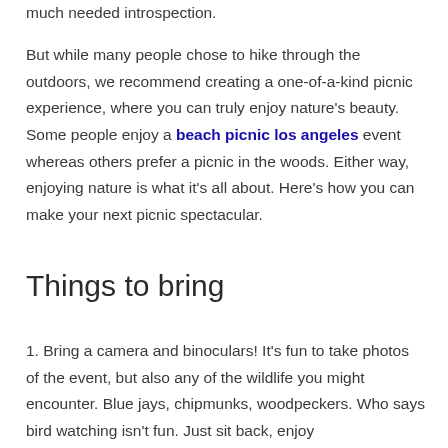much needed introspection.
But while many people chose to hike through the outdoors, we recommend creating a one-of-a-kind picnic experience, where you can truly enjoy nature’s beauty. Some people enjoy a beach picnic los angeles event whereas others prefer a picnic in the woods. Either way, enjoying nature is what it’s all about. Here’s how you can make your next picnic spectacular.
Things to bring
1. Bring a camera and binoculars! It’s fun to take photos of the event, but also any of the wildlife you might encounter. Blue jays, chipmunks, woodpeckers. Who says bird watching isn’t fun. Just sit back, enjoy